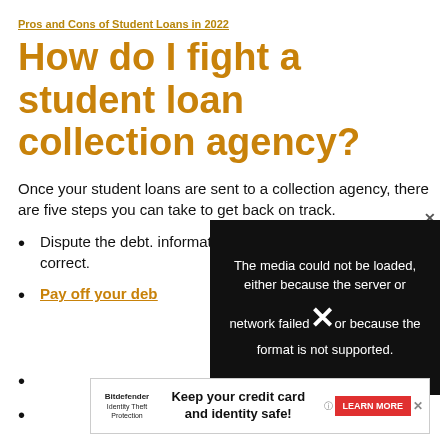Pros and Cons of Student Loans in 2022
How do I fight a student loan collection agency?
Once your student loans are sent to a collection agency, there are five steps you can take to get back on track.
Dispute the debt. information from correct.
Pay off your debt
[Figure (screenshot): Media error overlay with black background showing text: 'The media could not be loaded, either because the server or network failed or because the format is not supported.' with an X icon in the center.]
[Figure (infographic): Advertisement banner for Bitdefender Identity Theft Protection: 'Keep your credit card and identity safe!' with a red LEARN MORE button.]